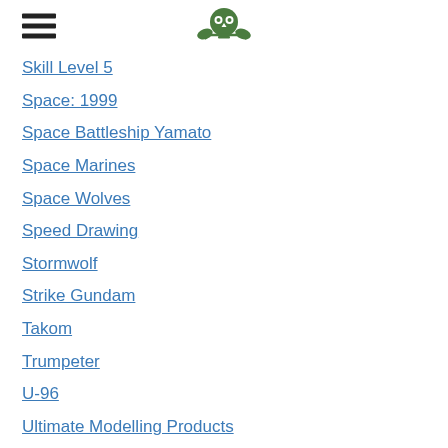[Navigation header with hamburger menu and logo]
Skill Level 5
Space: 1999
Space Battleship Yamato
Space Marines
Space Wolves
Speed Drawing
Stormwolf
Strike Gundam
Takom
Trumpeter
U-96
Ultimate Modelling Products
Uni Posca Paint Pens
Video Build Series
Video Diary